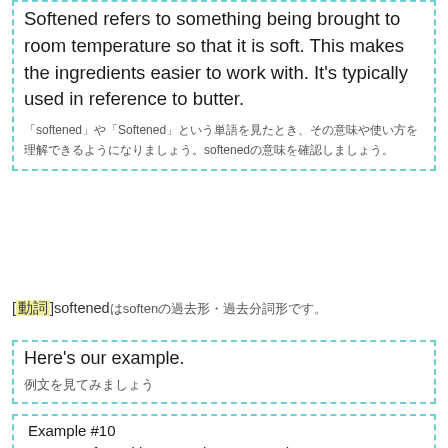The last word we are going to cover today is softened. Softened refers to something being brought to room temperature so that it is soft. This makes the ingredients easier to work with. It's typically used in reference to butter.
「softened」や「Softened」という単語を見たとき、その意味や使い方を理解できるようになりましょう。softenedの意味を確認しましょう。
[動詞] softened は soften の過去形・過去分詞形です。
Here's our example.
例文を見てみましょう
Example #10
Cream softened butter and sugar together.